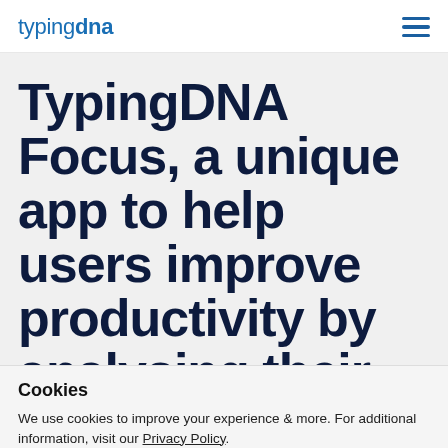typingdna
TypingDNA Focus, a unique app to help users improve productivity by analysing their...
Cookies
We use cookies to improve your experience & more. For additional information, visit our Privacy Policy.
Ok
Show details